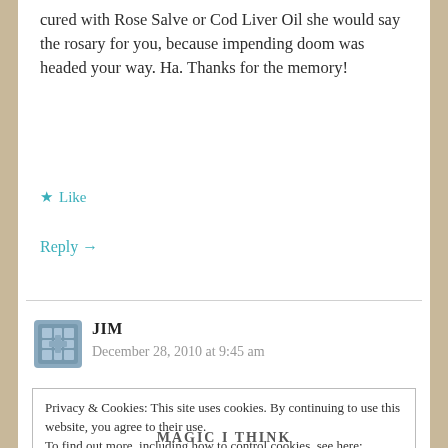cured with Rose Salve or Cod Liver Oil she would say the rosary for you, because impending doom was headed your way. Ha. Thanks for the memory!
★ Like
Reply →
JIM
December 28, 2010 at 9:45 am
Privacy & Cookies: This site uses cookies. By continuing to use this website, you agree to their use.
To find out more, including how to control cookies, see here:
Cookie Policy
Close and accept
MAGIC I THINK